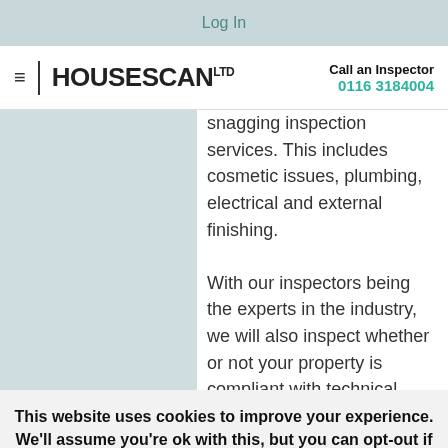Log In
HOUSESCANLTD | Call an Inspector 0116 3184004
snagging inspection services. This includes cosmetic issues, plumbing, electrical and external finishing. With our inspectors being the experts in the industry, we will also inspect whether or not your property is compliant with technical standards and building regulations. Housescan is here to provide snagging inspections in Essex that can
This website uses cookies to improve your experience. We'll assume you're ok with this, but you can opt-out if you wish.
Cookie settings
ACCEPT